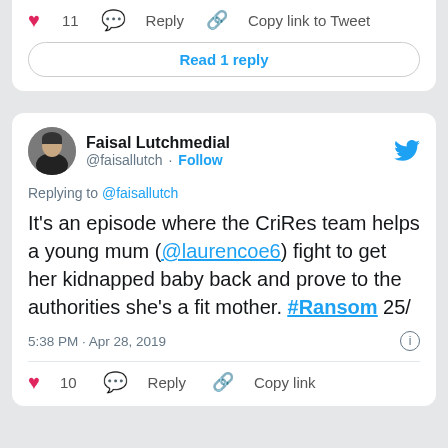[Figure (screenshot): Top of a Twitter card showing like count 11, Reply, and Copy link to Tweet actions, plus a Read 1 reply button]
[Figure (screenshot): Twitter card for Faisal Lutchmedial (@faisallutch) replying to @faisallutch. Tweet text: It's an episode where the CriRes team helps a young mum (@laurencoe6) fight to get her kidnapped baby back and prove to the authorities she's a fit mother. #Ransom 25/. Posted 5:38 PM · Apr 28, 2019. 10 likes, Reply, Copy link actions.]